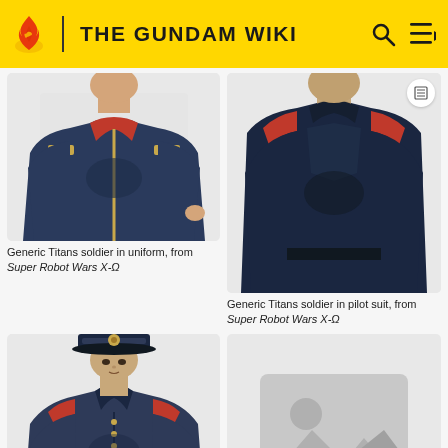THE GUNDAM WIKI
[Figure (illustration): Generic Titans soldier in uniform illustration from Super Robot Wars X-Ω, showing dark navy uniform with red and gold trim, upper body]
Generic Titans soldier in uniform, from Super Robot Wars X-Ω
[Figure (illustration): Generic Titans soldier in pilot suit illustration from Super Robot Wars X-Ω, showing dark navy pilot suit with red shoulder patches]
Generic Titans soldier in pilot suit, from Super Robot Wars X-Ω
[Figure (illustration): Generic Titans captain illustration from Super Robot Wars X-Ω, showing a captain in dark navy uniform with military cap and rank insignia]
Generic Titans captain, from Super Robot Wars X-Ω
[Figure (photo): Placeholder image with no content, showing a grey image placeholder icon]